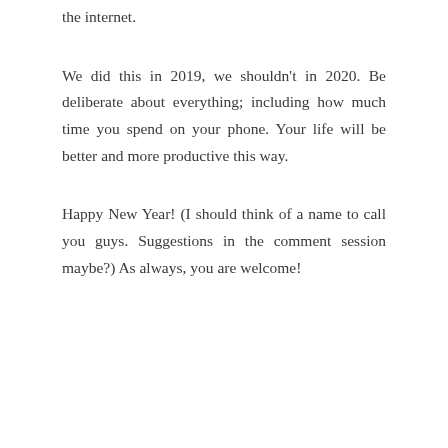the internet.
We did this in 2019, we shouldn’t in 2020. Be deliberate about everything; including how much time you spend on your phone. Your life will be better and more productive this way.
Happy New Year! (I should think of a name to call you guys. Suggestions in the comment session maybe?) As always, you are welcome!